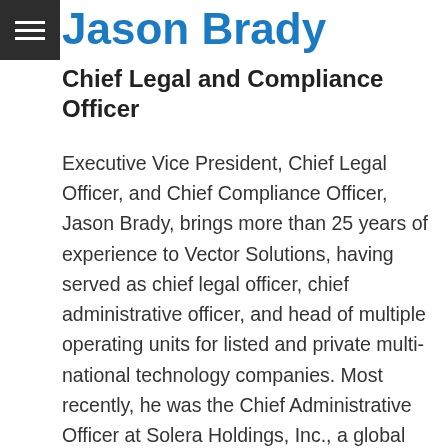Jason Brady
Chief Legal and Compliance Officer
Executive Vice President, Chief Legal Officer, and Chief Compliance Officer, Jason Brady, brings more than 25 years of experience to Vector Solutions, having served as chief legal officer, chief administrative officer, and head of multiple operating units for listed and private multi-national technology companies. Most recently, he was the Chief Administrative Officer at Solera Holdings, Inc., a global leader in data, information, and software solutions for the automotive and insurance sectors. Brady was responsible for